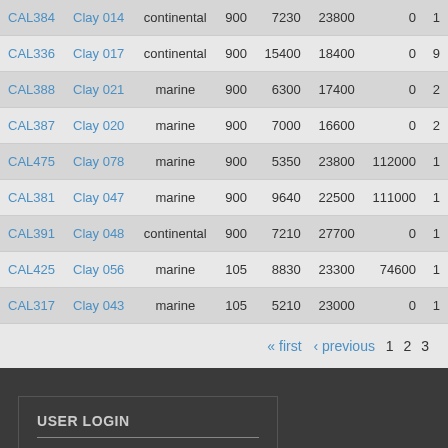| ID | Name | Type | Col4 | Col5 | Col6 | Col7 | Col8 |
| --- | --- | --- | --- | --- | --- | --- | --- |
| CAL384 | Clay 014 | continental | 900 | 7230 | 23800 | 0 | 1 |
| CAL336 | Clay 017 | continental | 900 | 15400 | 18400 | 0 | 9 |
| CAL388 | Clay 021 | marine | 900 | 6300 | 17400 | 0 | 2 |
| CAL387 | Clay 020 | marine | 900 | 7000 | 16600 | 0 | 2 |
| CAL475 | Clay 078 | marine | 900 | 5350 | 23800 | 112000 | 1 |
| CAL381 | Clay 047 | marine | 900 | 9640 | 22500 | 111000 | 1 |
| CAL391 | Clay 048 | continental | 900 | 7210 | 27700 | 0 | 1 |
| CAL425 | Clay 056 | marine | 105 | 8830 | 23300 | 74600 | 1 |
| CAL317 | Clay 043 | marine | 105 | 5210 | 23000 | 0 | 1 |
« first ‹ previous 1 2 3
USER LOGIN
You will be redirected to the secure